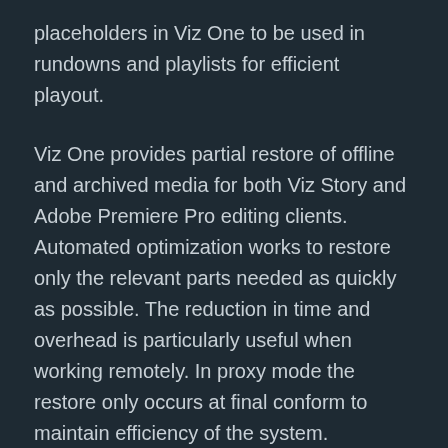placeholders in Viz One to be used in rundowns and playlists for efficient playout.
Viz One provides partial restore of offline and archived media for both Viz Story and Adobe Premiere Pro editing clients. Automated optimization works to restore only the relevant parts needed as quickly as possible. The reduction in time and overhead is particularly useful when working remotely. In proxy mode the restore only occurs at final conform to maintain efficiency of the system.